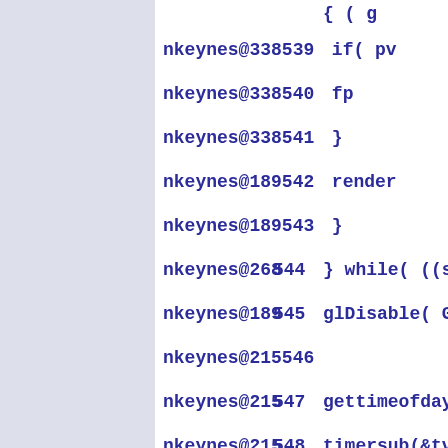nkeynes@338  539  if( pv
nkeynes@338  540  fp
nkeynes@338  541  }
nkeynes@189  542  render
nkeynes@189  543  }
nkeynes@268  544  } while( ((seg
nkeynes@189  545  glDisable( GL_
nkeynes@215  546
nkeynes@215  547  gettimeofday(&
nkeynes@215  548  timersub(&tv_e